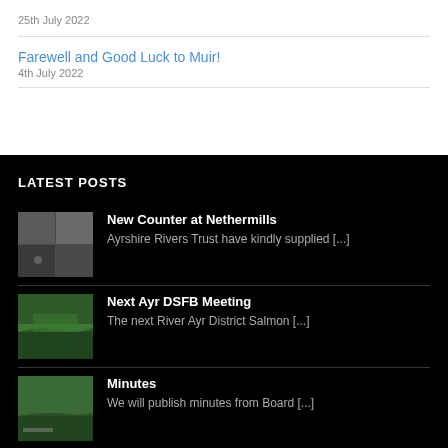25th July 2022
Farewell and Good Luck to Muir!
4th July 2022
LATEST POSTS
New Counter at Nethermills
Ayrshire Rivers Trust have kindly supplied [...]
Next Ayr DSFB Meeting
The next River Ayr District Salmon [...]
Minutes
We will publish minutes from Board [...]